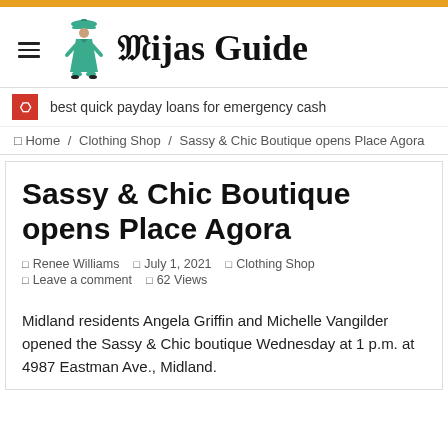Mijas Guide
best quick payday loans for emergency cash
Home / Clothing Shop / Sassy & Chic Boutique opens Place Agora
Sassy & Chic Boutique opens Place Agora
Renee Williams   July 1, 2021   Clothing Shop   Leave a comment   62 Views
Midland residents Angela Griffin and Michelle Vangilder opened the Sassy & Chic boutique Wednesday at 1 p.m. at 4987 Eastman Ave., Midland.